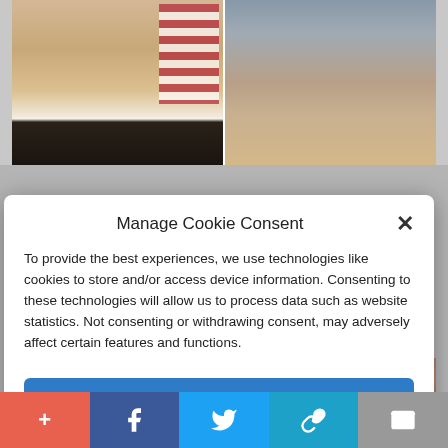[Figure (screenshot): Two men's photos side by side at top of webpage, partially visible behind modal dialog]
Manage Cookie Consent
To provide the best experiences, we use technologies like cookies to store and/or access device information. Consenting to these technologies will allow us to process data such as website statistics. Not consenting or withdrawing consent, may adversely affect certain features and functions.
Accept
Cookie Policy  Privacy Policy
[Figure (photo): Bottom portion of webpage showing food image partially visible]
[Figure (infographic): Share bar at bottom with plus, Facebook, Twitter, link, and email buttons]